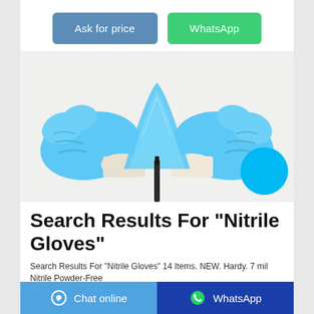Ask for price | WhatsApp
[Figure (photo): Two hands wearing blue nitrile gloves stretching a blue nitrile glove material between them, with a dark stick/rod beneath]
Search Results For "Nitrile Gloves"
Search Results For "Nitrile Gloves" 14 Items. NEW. Hardy. 7 mil Nitrile Powder-Free
Chat online | WhatsApp